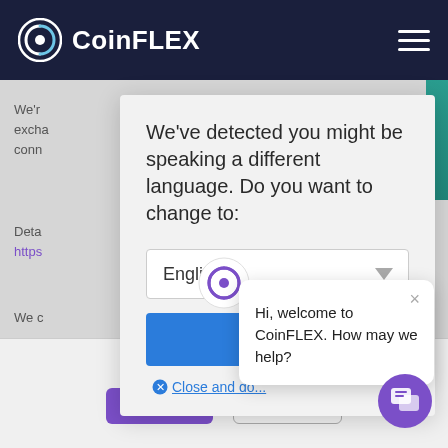[Figure (screenshot): CoinFLEX website screenshot showing dark navy navigation bar with CoinFLEX logo on the left and hamburger menu on the right, with a language detection modal overlay and chat popup]
We've detected you might be speaking a different language. Do you want to change to:
English
Cha...
Close and do...
Hi, welcome to CoinFLEX. How may we help?
use, see our Privacy Policy.
Accept
Decline